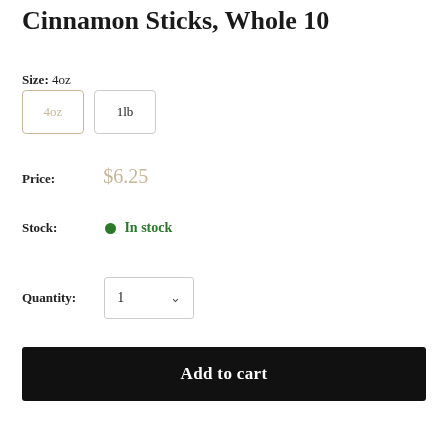Cinnamon Sticks, Whole 10
Size: 4oz
4oz | 1lb
Price: $6.25
Stock: In stock
Quantity: 1
Add to cart